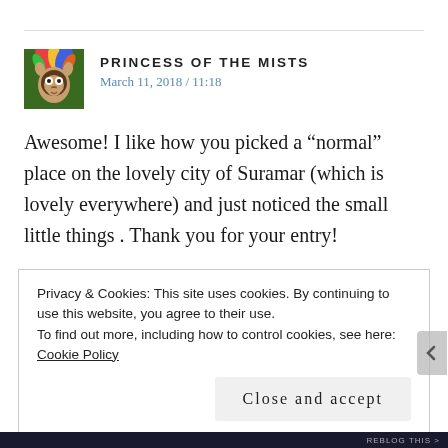PRINCESS OF THE MISTS
March 11, 2018 / 11:18
Awesome! I like how you picked a “normal” place on the lovely city of Suramar (which is lovely everywhere) and just noticed the small little things . Thank you for your entry!
Privacy & Cookies: This site uses cookies. By continuing to use this website, you agree to their use.
To find out more, including how to control cookies, see here: Cookie Policy
Close and accept